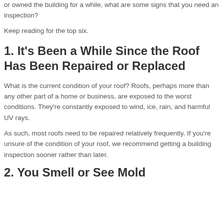or owned the building for a while, what are some signs that you need an inspection?
Keep reading for the top six.
1. It's Been a While Since the Roof Has Been Repaired or Replaced
What is the current condition of your roof? Roofs, perhaps more than any other part of a home or business, are exposed to the worst conditions. They're constantly exposed to wind, ice, rain, and harmful UV rays.
As such, most roofs need to be repaired relatively frequently. If you're unsure of the condition of your roof, we recommend getting a building inspection sooner rather than later.
2. You Smell or See Mold